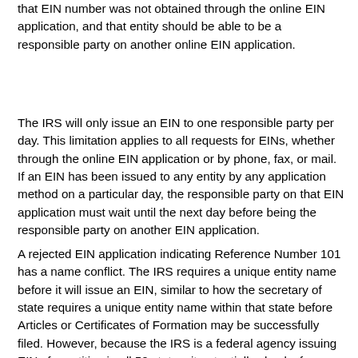that EIN number was not obtained through the online EIN application, and that entity should be able to be a responsible party on another online EIN application.
The IRS will only issue an EIN to one responsible party per day. This limitation applies to all requests for EINs, whether through the online EIN application or by phone, fax, or mail. If an EIN has been issued to any entity by any application method on a particular day, the responsible party on that EIN application must wait until the next day before being the responsible party on another EIN application.
A rejected EIN application indicating Reference Number 101 has a name conflict. The IRS requires a unique entity name before it will issue an EIN, similar to how the secretary of state requires a unique entity name within that state before Articles or Certificates of Formation may be successfully filed. However, because the IRS is a federal agency issuing EINs for entities in all 50 states, it potentially checks for duplicate entity names across multiple states. There are numerous references to a state on the online EIN application, such as the physical location state, mailing